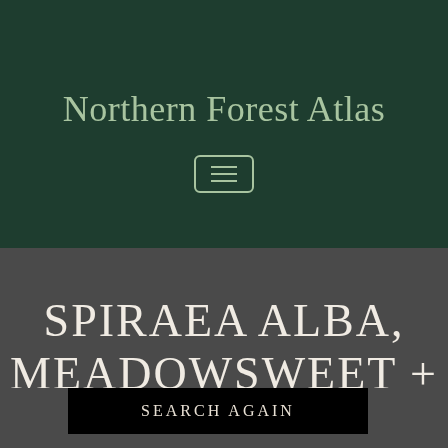Northern Forest Atlas
[Figure (other): Hamburger menu button icon with three horizontal lines, outlined in a rounded rectangle border]
SPIRAEA ALBA, MEADOWSWEET +
SEARCH AGAIN